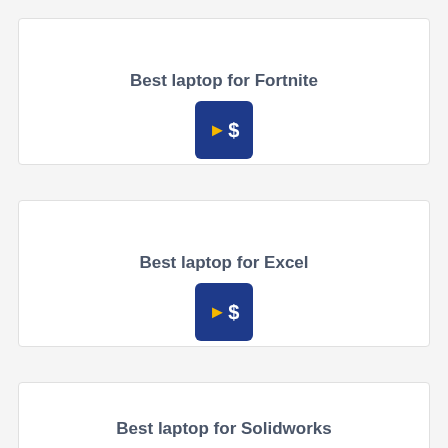Best laptop for Fortnite
[Figure (other): Blue button with yellow arrow and dollar sign icon]
Best laptop for Excel
[Figure (other): Blue button with yellow arrow and dollar sign icon]
Best laptop for Solidworks